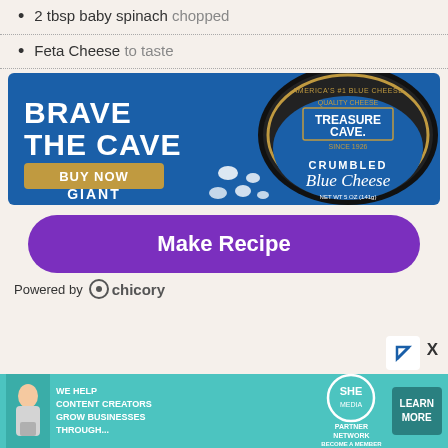2 tbsp baby spinach chopped
Feta Cheese to taste
[Figure (photo): Treasure Cave Crumbled Blue Cheese advertisement with 'BRAVE THE CAVE' text, BUY NOW button, and GIANT branding on a blue background]
Make Recipe
Powered by chicory
[Figure (photo): SHE Media Partner Network banner ad: 'WE HELP CONTENT CREATORS GROW BUSINESSES THROUGH...' with LEARN MORE button]